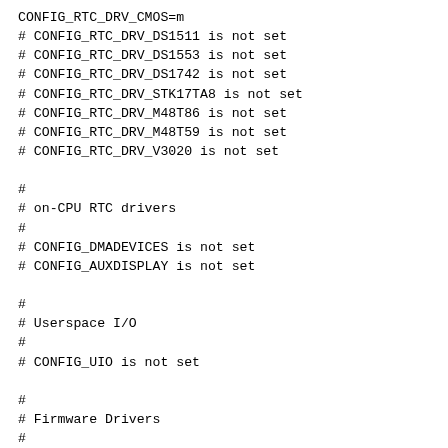CONFIG_RTC_DRV_CMOS=m
# CONFIG_RTC_DRV_DS1511 is not set
# CONFIG_RTC_DRV_DS1553 is not set
# CONFIG_RTC_DRV_DS1742 is not set
# CONFIG_RTC_DRV_STK17TA8 is not set
# CONFIG_RTC_DRV_M48T86 is not set
# CONFIG_RTC_DRV_M48T59 is not set
# CONFIG_RTC_DRV_V3020 is not set
#
# on-CPU RTC drivers
#
# CONFIG_DMADEVICES is not set
# CONFIG_AUXDISPLAY is not set
#
# Userspace I/O
#
# CONFIG_UIO is not set
#
# Firmware Drivers
#
CONFIG_EDD=m
# CONFIG_DELL_RBU is not set
# CONFIG_DCDBAS is not set
CONFIG_DMIID=y
#
# File systems